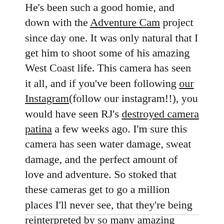He's been such a good homie, and down with the Adventure Cam project since day one. It was only natural that I get him to shoot some of his amazing West Coast life. This camera has seen it all, and if you've been following our Instagram(follow our instagram!!), you would have seen RJ's destroyed camera patina a few weeks ago. I'm sure this camera has seen water damage, sweat damage, and the perfect amount of love and adventure. So stoked that these cameras get to go a million places I'll never see, that they're being reinterpreted by so many amazing people in my peer group and beyond. Such an inspiration!!
Here's what RJ had to say about his experiences: